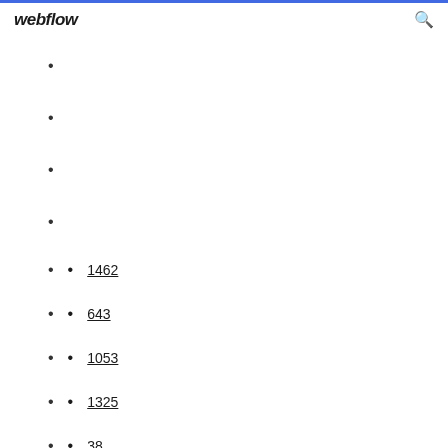webflow
1462
643
1053
1325
38
95
755
108